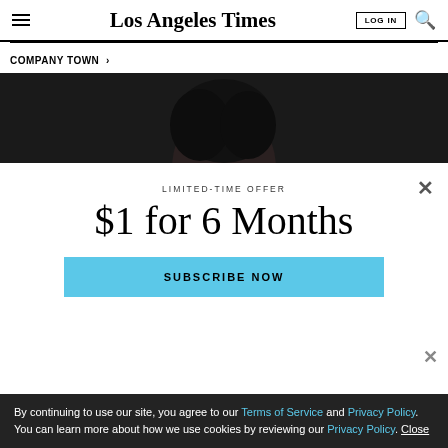Los Angeles Times
COMPANY TOWN >
[Figure (photo): Dark-background photo showing top of a person's head with dark hair]
LIMITED-TIME OFFER
$1 for 6 Months
SUBSCRIBE NOW
By continuing to use our site, you agree to our Terms of Service and Privacy Policy. You can learn more about how we use cookies by reviewing our Privacy Policy. Close